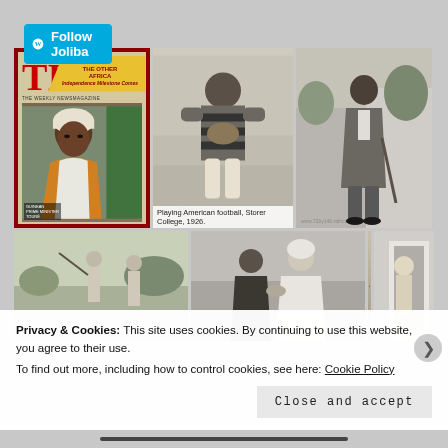[Figure (screenshot): WordPress Follow Joliba button bar in teal/blue color]
[Figure (photo): TIME magazine cover showing African man in white head covering with orange/white robe, text 'THE OTHER AFRICA' on yellow banner]
[Figure (photo): Black and white photo of person in striped rugby/football jersey holding a ball at Storer College, 1926]
Playing American football, Storer College, 1926.
[Figure (photo): Black and white photo of tall man in suit standing outdoors]
[Figure (photo): Black and white photo of two people playing golf]
[Figure (photo): Black and white photo of men in a meeting, one in western suit and one in traditional white robes]
[Figure (photo): Sepia/vintage portrait photo of a woman]
[Figure (photo): Black and white photo of person at a doorway]
Privacy & Cookies: This site uses cookies. By continuing to use this website, you agree to their use.
To find out more, including how to control cookies, see here: Cookie Policy
Close and accept